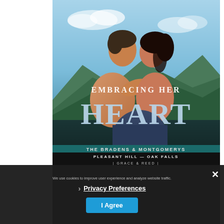[Figure (illustration): Book cover for 'Embracing Her Heart' from The Bradens & Montgomerys series (Pleasant Hill — Oak Falls, Grace & Reed). Shows a shirtless man and a woman with dark hair in an intimate embrace against a mountain/sky backdrop. Large title text 'EMBRACING HER HEART' overlaid on the lower portion of the cover image.]
Privacy Preferences
I Agree